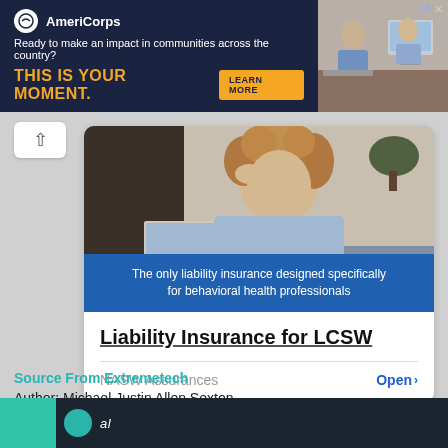[Figure (photo): AmeriCorps advertisement banner with dark navy background, logo, tagline 'Ready to make an impact in communities across the country?', headline 'THIS IS YOUR MOMENT.', learn more button, and photo of people in an office on the right side.]
[Figure (photo): Advertisement card showing a person with curly hair sitting at a desk with a laptop, appearing stressed or thinking, with a blue overlay banner reading 'The only liability insurance designed specifically for behavioral health professionals'.]
Liability Insurance for LCSW
NASW Assurances
Open >
Source From Extremetech
Author: Michael Justin Allen Sexton